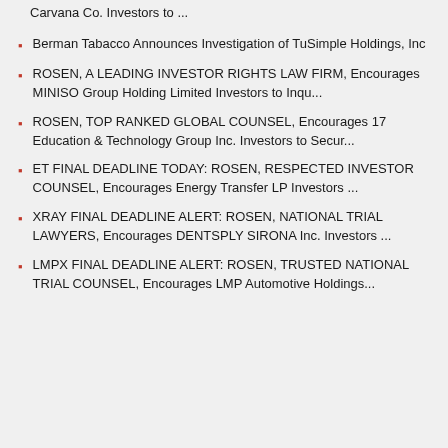Carvana Co. Investors to ...
Berman Tabacco Announces Investigation of TuSimple Holdings, Inc
ROSEN, A LEADING INVESTOR RIGHTS LAW FIRM, Encourages MINISO Group Holding Limited Investors to Inqu...
ROSEN, TOP RANKED GLOBAL COUNSEL, Encourages 17 Education & Technology Group Inc. Investors to Secur...
ET FINAL DEADLINE TODAY: ROSEN, RESPECTED INVESTOR COUNSEL, Encourages Energy Transfer LP Investors ...
XRAY FINAL DEADLINE ALERT: ROSEN, NATIONAL TRIAL LAWYERS, Encourages DENTSPLY SIRONA Inc. Investors ...
LMPX FINAL DEADLINE ALERT: ROSEN, TRUSTED NATIONAL TRIAL COUNSEL, Encourages LMP Automotive Holdings...